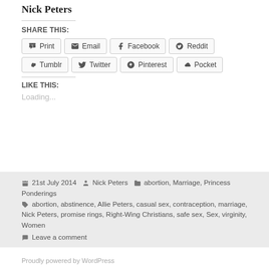Nick Peters
SHARE THIS:
Print | Email | Facebook | Reddit | Tumblr | Twitter | Pinterest | Pocket
LIKE THIS:
Loading...
21st July 2014  Nick Peters  abortion, Marriage, Princess Ponderings  abortion, abstinence, Allie Peters, casual sex, contraception, marriage, Nick Peters, promise rings, Right-Wing Christians, safe sex, Sex, virginity, Women
Leave a comment
Proudly powered by WordPress